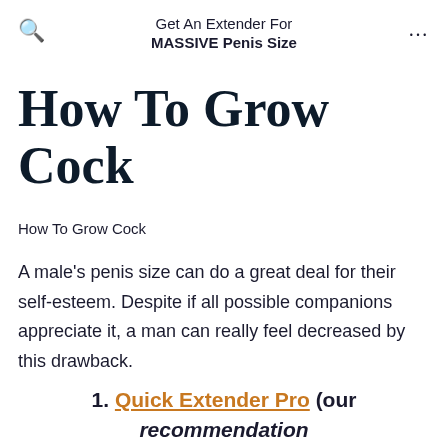Get An Extender For MASSIVE Penis Size
How To Grow Cock
How To Grow Cock
A male's penis size can do a great deal for their self-esteem. Despite if all possible companions appreciate it, a man can really feel decreased by this drawback.
1. Quick Extender Pro (our recommendation)